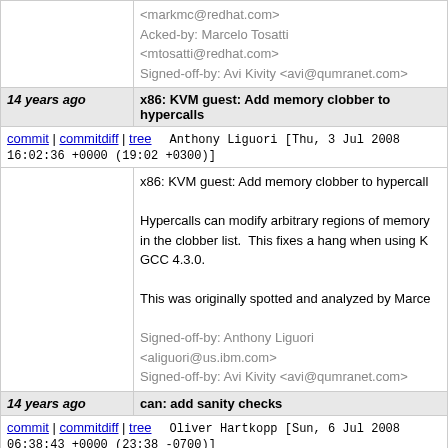Acked-by: Marcelo Tosatti <mtosatti@redhat.com>
Signed-off-by: Avi Kivity <avi@qumranet.com>
14 years ago   x86: KVM guest: Add memory clobber to hypercalls
commit | commitdiff | tree   Anthony Liguori [Thu, 3 Jul 2008 16:02:36 +0000 (19:02 +0300)]
x86: KVM guest: Add memory clobber to hypercalls

Hypercalls can modify arbitrary regions of memory in the clobber list. This fixes a hang when using KVM GCC 4.3.0.

This was originally spotted and analyzed by Marcelo.

Signed-off-by: Anthony Liguori <aliguori@us.ibm.com>
Signed-off-by: Avi Kivity <avi@qumranet.com>
14 years ago   can: add sanity checks
commit | commitdiff | tree   Oliver Hartkopp [Sun, 6 Jul 2008 06:38:43 +0000 (23:38 -0700)]
can: add sanity checks

Even though the CAN netlayer only deals with CAN...